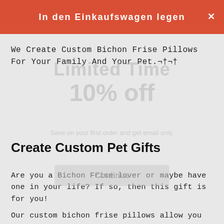In den Einkaufswagen legen
We Create Custom Bichon Frise Pillows For Your Family And Your Pet.¬†¬†
Create Custom Pet Gifts
Are you a Bichon Frise lover or maybe have one in your life? If so, then this gift is for you!
Our custom bichon frise pillows allow you to create